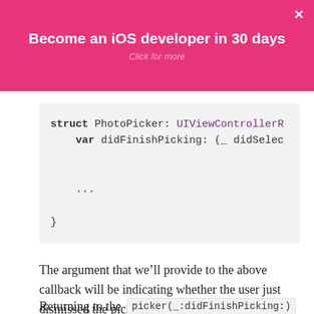Become an iOS developer in 30 days
Click for more
[Figure (screenshot): Code block showing Swift struct PhotoPicker: UIViewControllerR with var didFinishPicking: (_ didSelec ... }]
The argument that we’ll provide to the above callback will be indicating whether the user just dismissed the picker, or that happened after having selected media items.
Returning to the picker(_:didFinishPicking:)